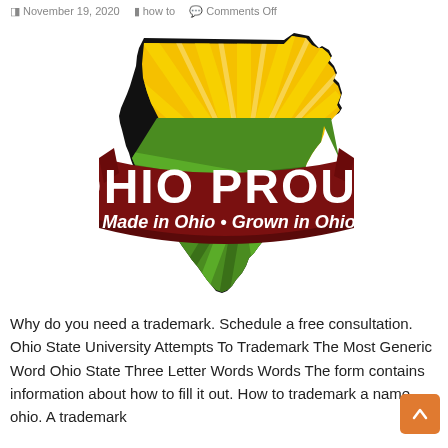November 19, 2020  how to  Comments Off
[Figure (logo): Ohio Proud logo — silhouette of the state of Ohio filled with golden sunburst rays (top half, yellow-orange) and green radiating stripes (bottom half). A dark maroon/crimson ribbon banner across the middle reads 'OHIO PROUD' in large white bold text, with 'Made in Ohio • Grown in Ohio' in smaller white italic text below on the ribbon. The whole shape has a thick black outline border.]
Why do you need a trademark. Schedule a free consultation. Ohio State University Attempts To Trademark The Most Generic Word Ohio State Three Letter Words Words The form contains information about how to fill it out. How to trademark a name ohio. A trademark